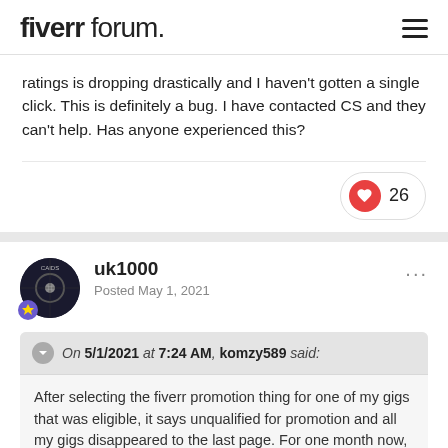fiverr forum.
ratings is dropping drastically and I haven't gotten a single click. This is definitely a bug. I have contacted CS and they can't help. Has anyone experienced this?
26 likes
uk1000
Posted May 1, 2021
On 5/1/2021 at 7:24 AM, komzy589 said:
After selecting the fiverr promotion thing for one of my gigs that was eligible, it says unqualified for promotion and all my gigs disappeared to the last page. For one month now, my impression ratings is dropping drastically and I haven't